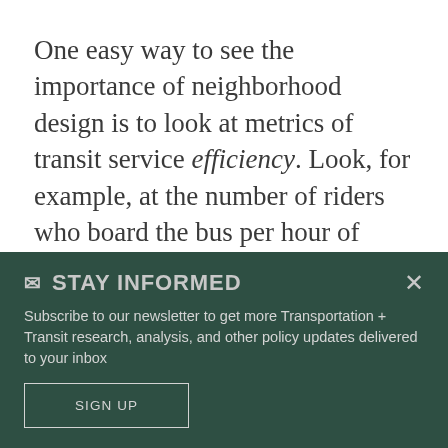One easy way to see the importance of neighborhood design is to look at metrics of transit service efficiency. Look, for example, at the number of riders who board the bus per hour of service. The higher that number, the more riders a bus system can serve with a limited pot of money. TransLink reports that about 47 riders board the bus (numbers derived from p. 11
✉ STAY INFORMED
Subscribe to our newsletter to get more Transportation + Transit research, analysis, and other policy updates delivered to your inbox
SIGN UP